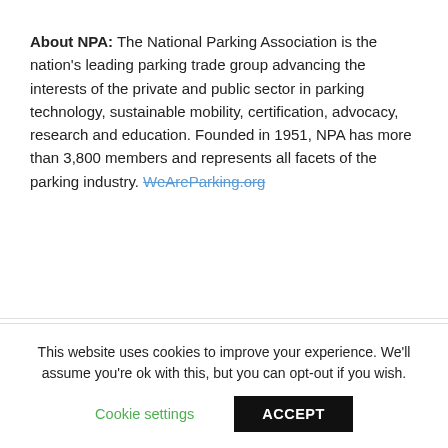About NPA: The National Parking Association is the nation's leading parking trade group advancing the interests of the private and public sector in parking technology, sustainable mobility, certification, advocacy, research and education. Founded in 1951, NPA has more than 3,800 members and represents all facets of the parking industry. WeAreParking.org
← Previous Post
Next Post →
This website uses cookies to improve your experience. We'll assume you're ok with this, but you can opt-out if you wish.
Cookie settings
ACCEPT